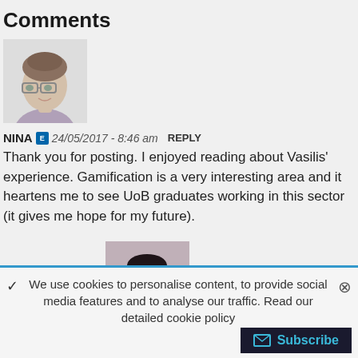Comments
[Figure (photo): Avatar photo of Nina, a young woman with glasses]
NINA  24/05/2017 - 8:46 am  REPLY
Thank you for posting. I enjoyed reading about Vasilis' experience. Gamification is a very interesting area and it heartens me to see UoB graduates working in this sector (it gives me hope for my future).
[Figure (photo): Avatar photo of Katherine Whittaker, a young woman with dark hair]
KATHERINE WHITTAKER  30/05/2017 - 2:29 pm  REPLY
We use cookies to personalise content, to provide social media features and to analyse our traffic. Read our detailed cookie policy